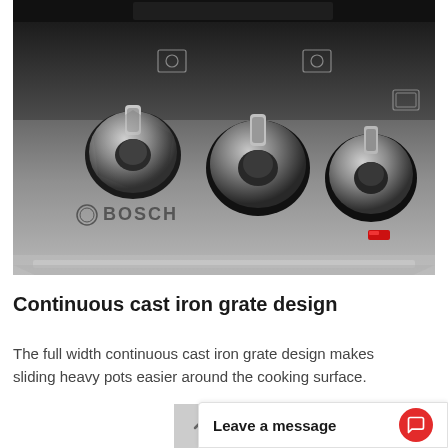[Figure (photo): Close-up photo of a Bosch stainless steel gas cooktop showing three silver control knobs with Bosch logo, burner icons, and a red indicator light on the surface.]
Continuous cast iron grate design
The full width continuous cast iron grate design makes sliding heavy pots easier around the cooking surface.
Leave a message